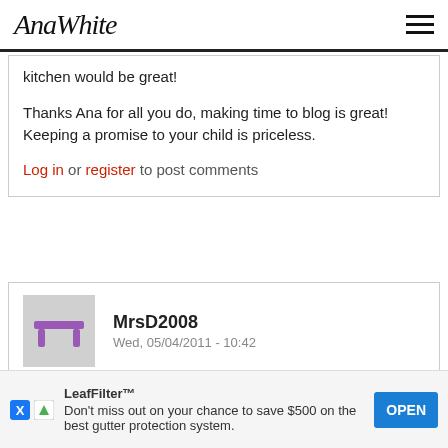AnaWhite
kitchen would be great!
Thanks Ana for all you do, making time to blog is great! Keeping a promise to your child is priceless.
Log in or register to post comments
MrsD2008
Wed, 05/04/2011 - 10:42
I was stuck between buying a
I was stuck between buying a tilt out and a slide out recycling center a few months back. I am so glad I found... sup...
LeafFilter™ Don't miss out on your chance to save $500 on the best gutter protection system. OPEN